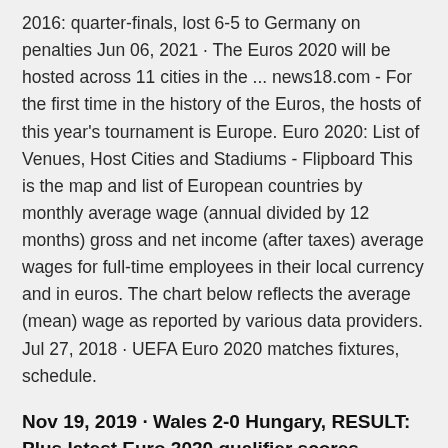2016: quarter-finals, lost 6-5 to Germany on penalties Jun 06, 2021 · The Euros 2020 will be hosted across 11 cities in the ... news18.com - For the first time in the history of the Euros, the hosts of this year's tournament is Europe. Euro 2020: List of Venues, Host Cities and Stadiums - Flipboard This is the map and list of European countries by monthly average wage (annual divided by 12 months) gross and net income (after taxes) average wages for full-time employees in their local currency and in euros. The chart below reflects the average (mean) wage as reported by various data providers. Jul 27, 2018 · UEFA Euro 2020 matches fixtures, schedule.
Nov 19, 2019 · Wales 2-0 Hungary, RESULT: Plus latest Euro 2020 qualifier scores